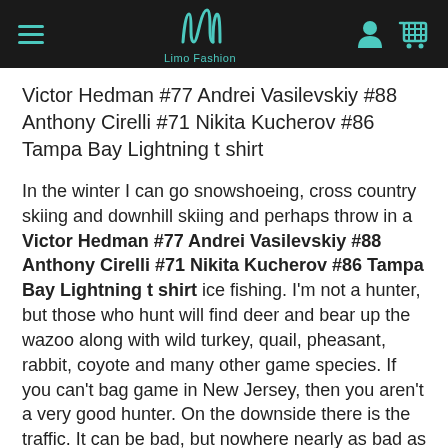Limo Fashion
Victor Hedman #77 Andrei Vasilevskiy #88 Anthony Cirelli #71 Nikita Kucherov #86 Tampa Bay Lightning t shirt
In the winter I can go snowshoeing, cross country skiing and downhill skiing and perhaps throw in a Victor Hedman #77 Andrei Vasilevskiy #88 Anthony Cirelli #71 Nikita Kucherov #86 Tampa Bay Lightning t shirt ice fishing. I'm not a hunter, but those who hunt will find deer and bear up the wazoo along with wild turkey, quail, pheasant, rabbit, coyote and many other game species. If you can't bag game in New Jersey, then you aren't a very good hunter. On the downside there is the traffic. It can be bad, but nowhere nearly as bad as some other places in the US where I have lived and traveled (halla